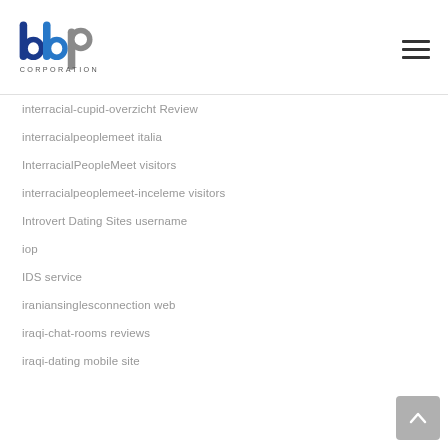[Figure (logo): BBP Corporation logo with blue and grey letters and CORPORATION text below]
interracial-cupid-overzicht Review
interracialpeoplemeet italia
InterracialPeopleMeet visitors
interracialpeoplemeet-inceleme visitors
Introvert Dating Sites username
iop
IDS service
iraniansinglesconnection web
iraqi-chat-rooms reviews
iraqi-dating mobile site